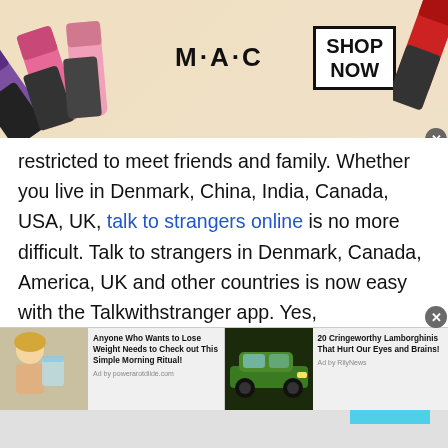[Figure (photo): MAC Cosmetics advertisement banner showing colorful lipsticks on the left and right, MAC logo in center, and a 'SHOP NOW' box on the right side.]
restricted to meet friends and family. Whether you live in Denmark, China, India, Canada, USA, UK, talk to strangers online is no more difficult. Talk to strangers in Denmark, Canada, America, UK and other countries is now easy with the Talkwithstranger app. Yes, Talkwithstranger is the most reliable, authentic and completely free online chatting app where you have millions of people to chat online.
Talk to strangers in Denmark via Talkwithstranger
[Figure (photo): Bottom advertisement bar showing two ads: left ad with illustration of woman drinking water titled 'Anyone Who Wants to Lose Weight Needs to Check out This Simple Morning Ritual!' by powerarotdiide.com, right ad with green Lamborghini car titled '20 Cringeworthy Lamborghinis That Hurt Our Eyes and Brains!' by RilyNews.]